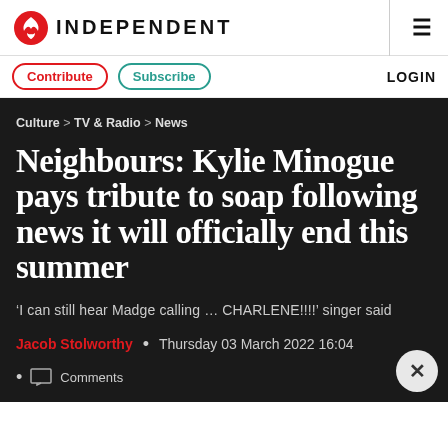INDEPENDENT
Contribute  Subscribe  LOGIN
Culture > TV & Radio > News
Neighbours: Kylie Minogue pays tribute to soap following news it will officially end this summer
‘I can still hear Madge calling … CHARLENE!!!!’ singer said
Jacob Stolworthy • Thursday 03 March 2022 16:04
Comments